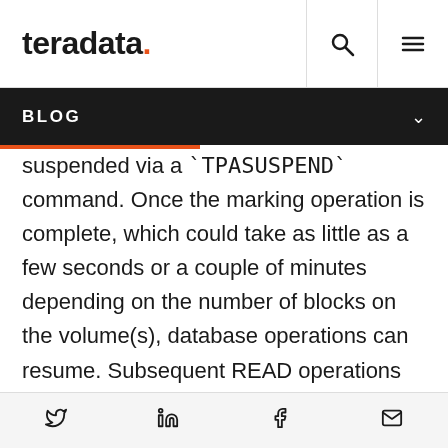teradata. [search icon] [menu icon]
BLOG
suspended via a `TPASUSPEND` command. Once the marking operation is complete, which could take as little as a few seconds or a couple of minutes depending on the number of blocks on the volume(s), database operations can resume. Subsequent READ operations will continue unhindered, but if a WRITE operation attempts to change a block that is marked to be copied, the snapshot process MUST make a copy of the
Twitter  LinkedIn  Facebook  Email